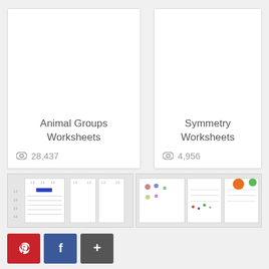[Figure (screenshot): Card thumbnail for Animal Groups Worksheets, blank white area]
Animal Groups Worksheets
28,437 views
[Figure (screenshot): Card thumbnail for Symmetry Worksheets, blank white area]
Symmetry Worksheets
4,956 views
[Figure (screenshot): Thumbnail image of math worksheet with grid layout]
[Figure (screenshot): Thumbnail image of colorful worksheet with circles and images]
Be a hero! Share this page to help others get FREE resources!